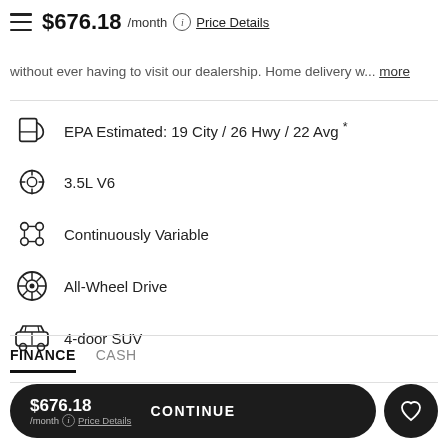$676.18 /month  Price Details
Buy your next car 100% online. No upfront. $0 down on all our vehicles. Complete everything from the comfort of your home, without ever having to visit our dealership. Home delivery w... more
EPA Estimated: 19 City / 26 Hwy / 22 Avg *
3.5L V6
Continuously Variable
All-Wheel Drive
4-door SUV
FINANCE   CASH
$676.18 /month  Price Details   CONTINUE